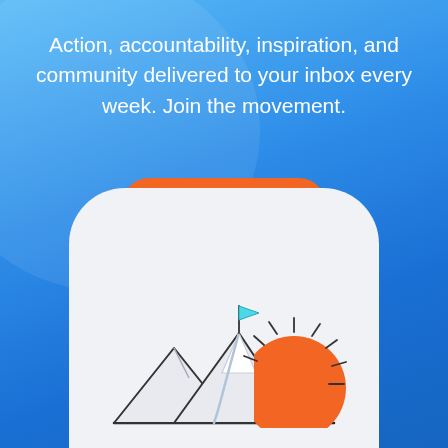Action, accountability, inspiration, and community delivered to your inbox every week. Join the movement.
Get It Now
[Figure (illustration): A rounded white card containing an illustration of a mountain with a flag at the peak and an orange sun rising behind it, with sunbeams radiating outward.]